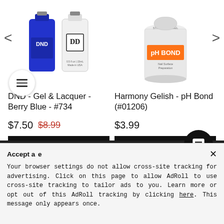[Figure (photo): DND nail gel and lacquer bottles (blue bottle and white bottle) on left, Gelish pH Bond bottle on right, carousel navigation arrows visible]
DND - Gel & Lacquer - Berry Blue - #734
$7.50  $8.99
Add to cart
Harmony Gelish - pH Bond (#01206)
$3.99
Add to cart
Accept a  x
Your browser settings do not allow cross-site tracking for advertising. Click on this page to allow AdRoll to use cross-site tracking to tailor ads to you. Learn more or opt out of this AdRoll tracking by clicking here. This message only appears once.